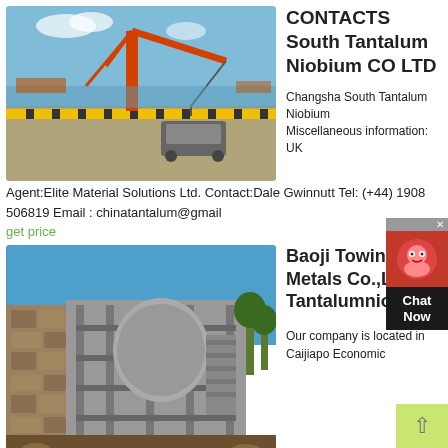[Figure (photo): Crane and heavy machinery on a port/dock area with blue sky]
CONTACTS South Tantalum Niobium CO LTD
Changsha South Tantalum Niobium Miscellaneous information: UK Agent:Elite Material Solutions Ltd. Contact:Dale Gwinnutt Tel: (+44) 1908 506819 Email : chinatantalum@gmail
get price
[Figure (photo): Industrial processing plant or mining facility with metal structures and stone walls]
Baoji Towin Rare Metals Co.,Ltd Tantalumniobium
Our company is located in Caijiapo Economic